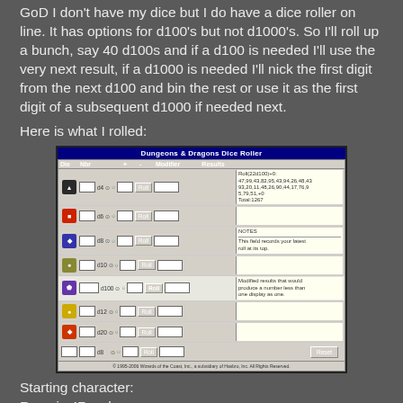GoD I don't have my dice but I do have a dice roller on line. It has options for d100's but not d1000's. So I'll roll up a bunch, say 40 d100s and if a d100 is needed I'll use the very next result, if a d1000 is needed I'll nick the first digit from the next d100 and bin the rest or use it as the first digit of a subsequent d1000 if needed next.
Here is what I rolled:
[Figure (screenshot): Dungeons & Dragons Dice Roller web application screenshot showing dice rolling interface with 22 d100 rolls resulting in: 47,99,43,82,95,43,94,26,48,43,93,20,11,48,26,90,44,17,76,9,5,79,51. Total: 1267. Shows various die options (d4, d6, d8, d10, d100, d12, d20) with the d100 row showing 22 dice rolled with result 1267.]
Starting character:
Race is 47 so human.
Profile is 99! so level 20 wizard. Awesome. I'll try not to